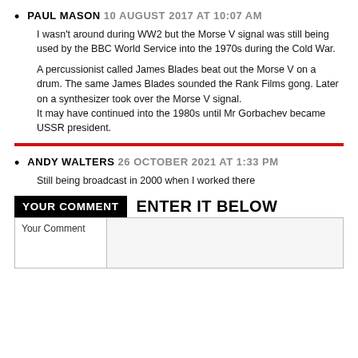PAUL MASON 10 AUGUST 2017 AT 10:07 AM
I wasn't around during WW2 but the Morse V signal was still being used by the BBC World Service into the 1970s during the Cold War.

A percussionist called James Blades beat out the Morse V on a drum. The same James Blades sounded the Rank Films gong. Later on a synthesizer took over the Morse V signal. It may have continued into the 1980s until Mr Gorbachev became USSR president.
ANDY WALTERS 26 OCTOBER 2021 AT 1:33 PM
Still being broadcast in 2000 when I worked there
| YOUR COMMENT | ENTER IT BELOW |
| --- | --- |
| Your Comment |  |